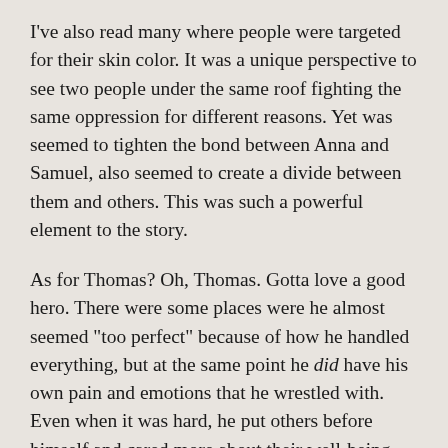I've also read many where people were targeted for their skin color. It was a unique perspective to see two people under the same roof fighting the same oppression for different reasons. Yet was seemed to tighten the bond between Anna and Samuel, also seemed to create a divide between them and others. This was such a powerful element to the story.
As for Thomas? Oh, Thomas. Gotta love a good hero. There were some places were he almost seemed “too perfect” because of how he handled everything, but at the same point he did have his own pain and emotions that he wrestled with. Even when it was hard, he put others before himself and cared more about their well-being than his own. He was amazing.